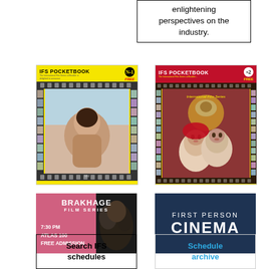enlightening perspectives on the industry.
[Figure (illustration): IFS Pocketbook No.1 - yellow cover with film strip border and figure photo]
[Figure (illustration): IFS Pocketbook No.2 - yellow cover with red header and two faces photo]
[Figure (illustration): Brakhage Film Series - pink/mauve banner with dark image area, 7:30 PM Atlas 100 Free Admission]
[Figure (illustration): First Person Cinema - dark navy blue box with white text]
Search IFS schedules
Schedule archive